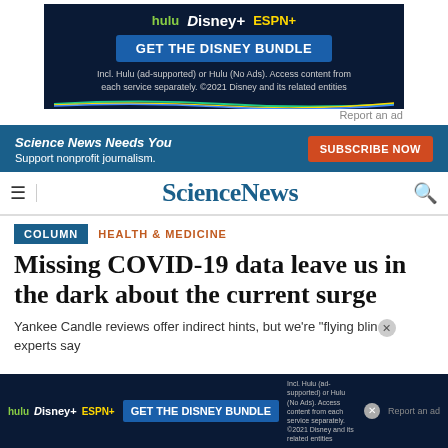[Figure (screenshot): Disney Bundle advertisement banner with dark navy background showing Hulu, Disney+, and ESPN+ logos, a blue 'GET THE DISNEY BUNDLE' button, and fine print text.]
Report an ad
[Figure (screenshot): Science News subscription bar with dark blue background, italic 'Science News Needs You' text, 'Support nonprofit journalism.' subtext, and an orange 'SUBSCRIBE NOW' button.]
ScienceNews
COLUMN   HEALTH & MEDICINE
Missing COVID-19 data leave us in the dark about the current surge
Yankee Candle reviews offer indirect hints, but we're "flying blind," experts say
[Figure (screenshot): Second Disney Bundle advertisement banner at the bottom of the page with dark navy background, Hulu/Disney+/ESPN+ logos, blue GET THE DISNEY BUNDLE button, and fine print. Includes Report an ad text on right.]